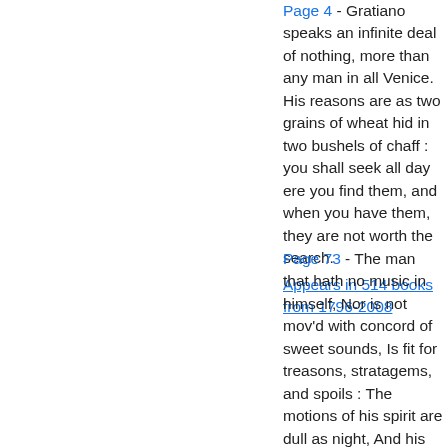Page 4 - Gratiano speaks an infinite deal of nothing, more than any man in all Venice. His reasons are as two grains of wheat hid in two bushels of chaff : you shall seek all day ere you find them, and when you have them, they are not worth the search. Appears in 514 books from 1796-2008
Page 73 - The man that hath no music in himself, Nor is not mov'd with concord of sweet sounds, Is fit for treasons, stratagems, and spoils : The motions of his spirit are dull as night, And his affections dark as Erebus. Let no